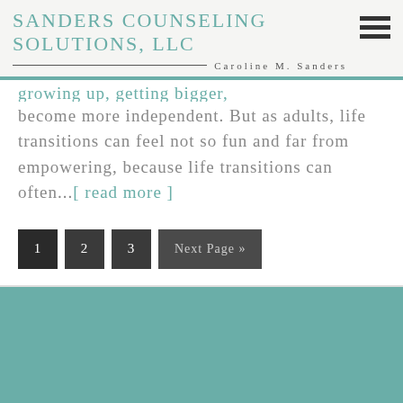Sanders Counseling Solutions, LLC — Caroline M. Sanders
become more independent. But as adults, life transitions can feel not so fun and far from empowering, because life transitions can often...[ read more ]
1  2  3  Next Page »
Contact Information